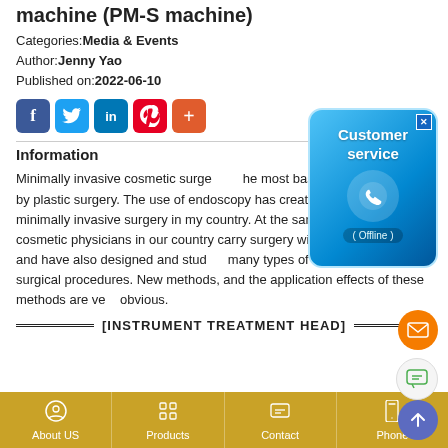machine (PM-S machine)
Categories:Media & Events
Author:Jenny Yao
Published on:2022-06-10
[Figure (infographic): Social media share icons: Facebook (blue), Twitter (light blue), LinkedIn (dark blue), Pinterest (red), Plus/more (orange-red)]
[Figure (screenshot): Customer service popup widget with blue gradient background, phone icon, text 'Customer service' and '(Offline)' label, with close button]
Information
Minimally invasive cosmetic surgery is the most basic principle pursued by plastic surgery. The use of endoscopy has created a new era of minimally invasive surgery in my country. At the same time, many cosmetic physicians in our country carry surgery without endoscopy, and have also designed and studied many types of minimally invasive surgical procedures. New methods, and the application effects of these methods are very obvious.
[INSTRUMENT TREATMENT HEAD]
[Figure (infographic): Footer navigation bar with gold/tan background containing four items: About US, Products, Contact, Phone with icons]
[Figure (infographic): Floating action buttons: orange email icon, grey chat icon, purple up-arrow icon]